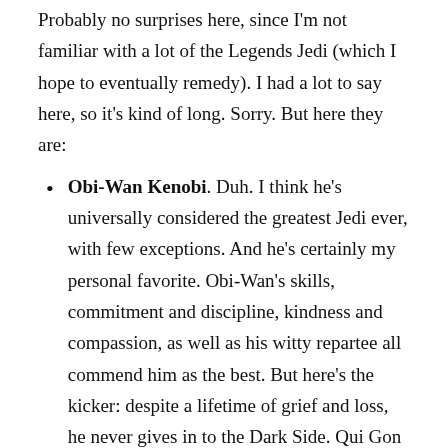Probably no surprises here, since I'm not familiar with a lot of the Legends Jedi (which I hope to eventually remedy). I had a lot to say here, so it's kind of long. Sorry. But here they are:
Obi-Wan Kenobi. Duh. I think he's universally considered the greatest Jedi ever, with few exceptions. And he's certainly my personal favorite. Obi-Wan's skills, commitment and discipline, kindness and compassion, as well as his witty repartee all commend him as the best. But here's the kicker: despite a lifetime of grief and loss, he never gives in to the Dark Side. Qui Gon Jinn, Satine Kryze, Anakin Skywalker (and Padme, to some extent); not to mention the entire Jedi Order and a way of life he's always known: all